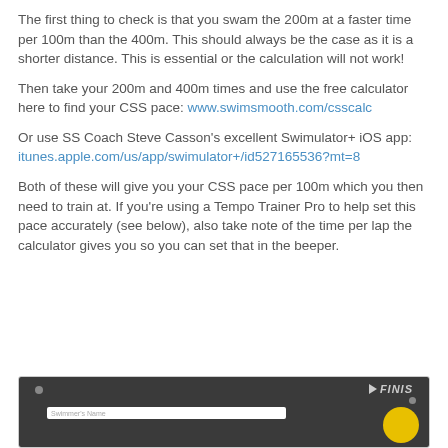The first thing to check is that you swam the 200m at a faster time per 100m than the 400m. This should always be the case as it is a shorter distance. This is essential or the calculation will not work!
Then take your 200m and 400m times and use the free calculator here to find your CSS pace: www.swimsmooth.com/csscalc
Or use SS Coach Steve Casson's excellent Swimulator+ iOS app: itunes.apple.com/us/app/swimulator+/id527165536?mt=8
Both of these will give you your CSS pace per 100m which you then need to train at. If you're using a Tempo Trainer Pro to help set this pace accurately (see below), also take note of the time per lap the calculator gives you so you can set that in the beeper.
[Figure (screenshot): Screenshot of a FINIS app interface showing a dark background with the FINIS logo, a dot icon, a Swimmer's Name field, and a yellow circle element.]